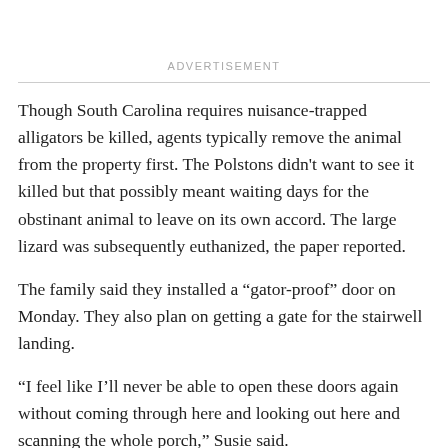ADVERTISEMENT
Though South Carolina requires nuisance-trapped alligators be killed, agents typically remove the animal from the property first. The Polstons didn't want to see it killed but that possibly meant waiting days for the obstinant animal to leave on its own accord. The large lizard was subsequently euthanized, the paper reported.
The family said they installed a “gator-proof” door on Monday. They also plan on getting a gate for the stairwell landing.
“I feel like I’ll never be able to open these doors again without coming through here and looking out here and scanning the whole porch,” Susie said.